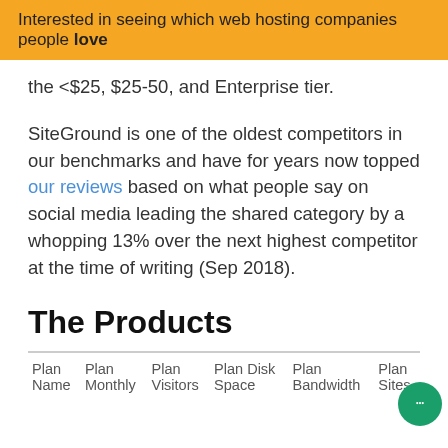Interested in seeing which web hosting companies people love
the <$25, $25-50, and Enterprise tier.
SiteGround is one of the oldest competitors in our benchmarks and have for years now topped our reviews based on what people say on social media leading the shared category by a whopping 13% over the next highest competitor at the time of writing (Sep 2018).
The Products
| Plan Name | Plan Monthly | Plan Visitors | Plan Disk Space | Plan Bandwidth | Plan Sites |
| --- | --- | --- | --- | --- | --- |